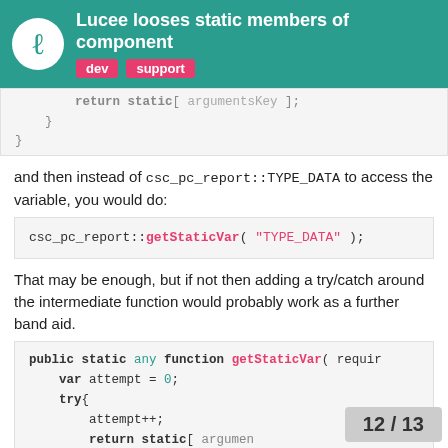Lucee looses static members of component  dev  support
return static[ argumentsKey ];
        }
    }
and then instead of csc_pc_report::TYPE_DATA to access the variable, you would do:
csc_pc_report::getStaticVar( "TYPE_DATA" );
That may be enough, but if not then adding a try/catch around the intermediate function would probably work as a further band aid.
public static any function getStaticVar( requir
    var attempt = 0;
    try{
        attempt++;
        return static[ argumen
    }
12 / 13